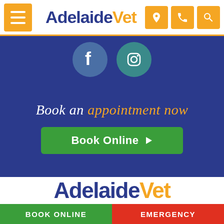[Figure (screenshot): AdelaideVet website header with orange menu button, white and blue logo, and orange icon buttons for location, phone, and search]
[Figure (screenshot): Blue section with Facebook and Instagram circular social media icons, booking call-to-action text and green Book Online button]
Book an appointment now
Book Online
[Figure (logo): AdelaideVet logo in large size, with Adelaide in dark blue and Vet in orange]
BOOK ONLINE   EMERGENCY